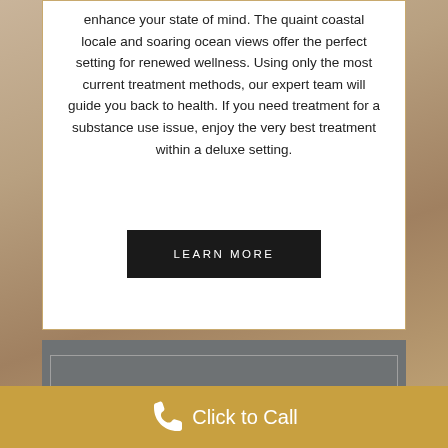enhance your state of mind. The quaint coastal locale and soaring ocean views offer the perfect setting for renewed wellness. Using only the most current treatment methods, our expert team will guide you back to health. If you need treatment for a substance use issue, enjoy the very best treatment within a deluxe setting.
[Figure (other): Black button with white uppercase text reading 'LEARN MORE']
[Figure (other): Gray section box with inner border, partially visible at bottom of white card area]
Click to Call